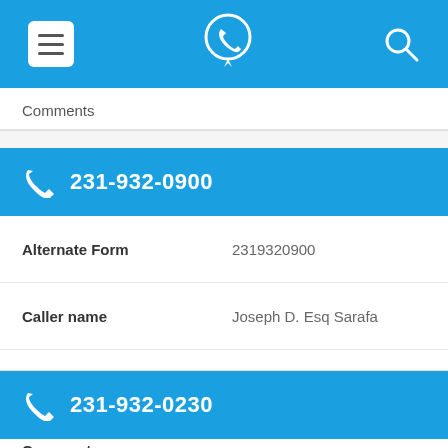App navigation bar with menu, phone locator, and search icons
Comments
231-932-0900
| Field | Value |
| --- | --- |
| Alternate Form | 2319320900 |
| Caller name | Joseph D. Esq Sarafa |
| Last User Search | No searches yet |
| Comments |  |
231-932-0230
| Field | Value |
| --- | --- |
| Alternate Form | 2319320230 |